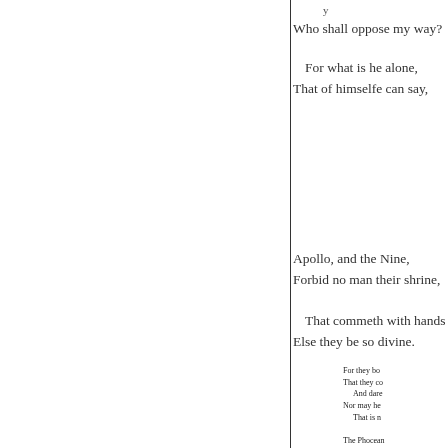Who shall oppose my way?
For what is he alone,
That of himselfe can say,
Apollo, and the Nine,
Forbid no man their shrine,
That commeth with hands [clean]
Else they be so divine.
For they bo [...]  That they co [...] And dare [...] Nor may he [...] That is n [...]

The Phocean [...] Whom when [...] Those ma [...] Fell, as wit [...] His neck [...]

That instru [...] Strooke by t [...] It strong [...] But it th' in [...] And mad [...]

As those pr [...] Whose sou [...]